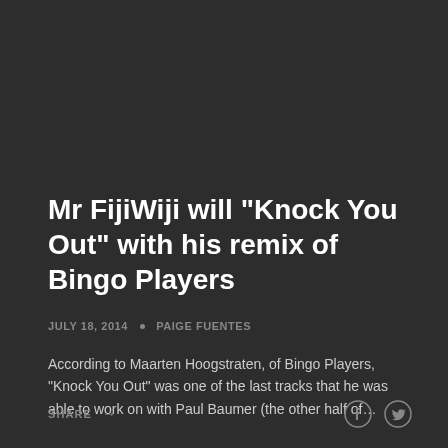Mr FijiWiji will "Knock You Out" with his remix of Bingo Players
JULY 18, 2014 · PAIGE FUENTES
According to Maarten Hoogstraten, of Bingo Players, "Knock You Out" was one of the last tracks that he was able to work on with Paul Baumer (the other half of…
SHARE →